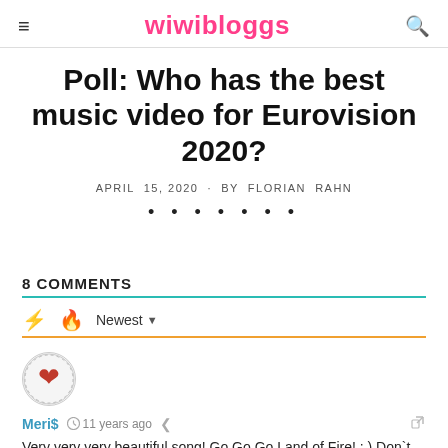wiwibloggs
Poll: Who has the best music video for Eurovision 2020?
APRIL 15, 2020 · BY FLORIAN RAHN
8 COMMENTS
Newest
Meri$  11 years ago
Very very very beautiful song! Go Go Go Land of Fire! : ) Don`t